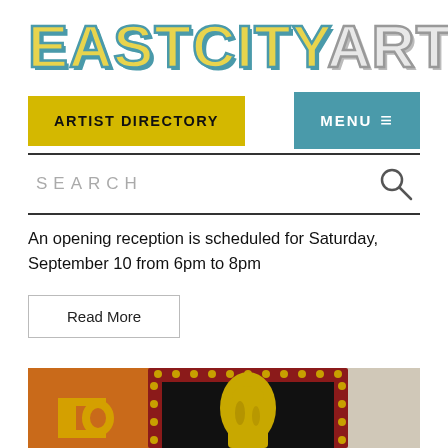EASTCITYART
ARTIST DIRECTORY
MENU
SEARCH
An opening reception is scheduled for Saturday, September 10 from 6pm to 8pm
Read More
[Figure (photo): Artwork image showing a framed nude torso sculpture in yellow/gold tones mounted on an orange background, with ornate gold-dotted red frame, partially cropped]